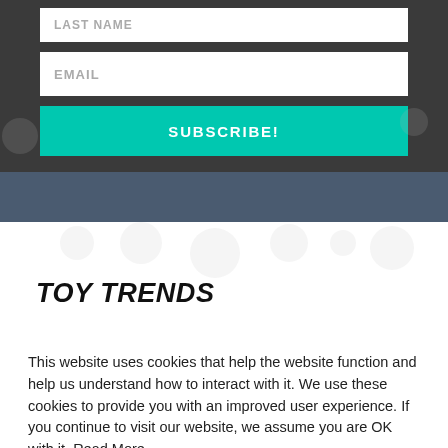[Figure (screenshot): Dark gray form area with EMAIL input field and SUBSCRIBE button in teal/cyan color]
[Figure (screenshot): Blue-gray horizontal banner bar]
TOY TRENDS
This website uses cookies that help the website function and help us understand how to interact with it. We use these cookies to provide you with an improved user experience. If you continue to visit our website, we assume you are OK with it. Read More
Cookie settings   Got It!